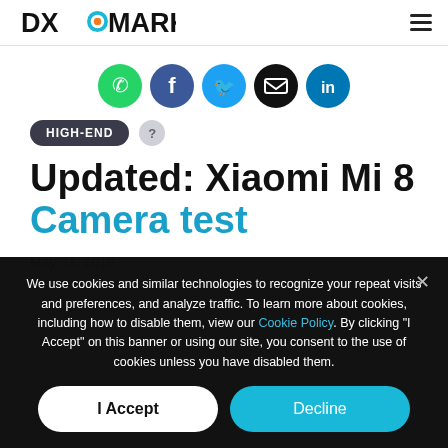DXOMARK
[Figure (infographic): Social share icons: WhatsApp (green), Facebook (dark blue), Twitter (blue), Email (black), LinkedIn (blue)]
HIGH-END
Updated: Xiaomi Mi 8 Camera test
May 31, 2018
We use cookies and similar technologies to recognize your repeat visits and preferences, and analyze traffic. To learn more about cookies, including how to disable them, view our Cookie Policy. By clicking "I Accept" on this banner or using our site, you consent to the use of cookies unless you have disabled them.